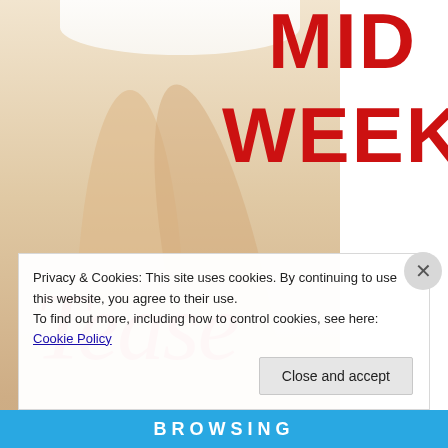[Figure (illustration): Promotional banner image for 'Mid Week Tease' showing a woman's legs in a white dress and beige heels against a white background, with large red bold text reading MID WEEK and red cursive script reading Tease.]
Privacy & Cookies: This site uses cookies. By continuing to use this website, you agree to their use.
To find out more, including how to control cookies, see here: Cookie Policy
Close and accept
BROWSING